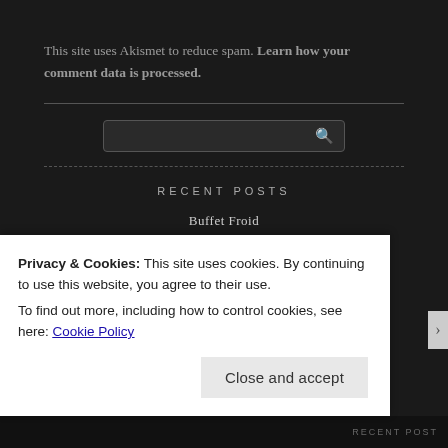This site uses Akismet to reduce spam. Learn how your comment data is processed.
[Figure (other): Search input box with magnifying glass icon]
RECENT POSTS
Buffet Froid
Cliff Walkers (Xuányá Zhī Shàng)
Back to Burgundy (Ce Qui Nous Lie)
Privacy & Cookies: This site uses cookies. By continuing to use this website, you agree to their use.
To find out more, including how to control cookies, see here: Cookie Policy
Close and accept